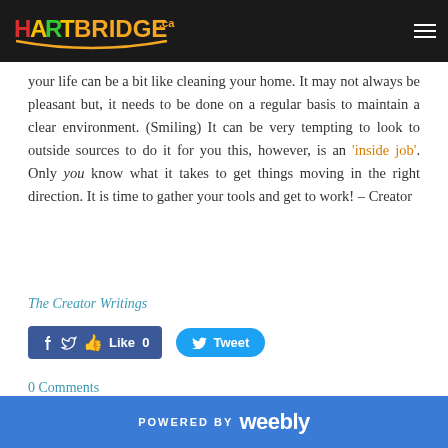HARTBRIDGE.ca
your life can be a bit like cleaning your home.  It may not always be pleasant but, it needs to be done on a regular basis to maintain a clear environment. (Smiling) It can be very tempting to look to outside sources to do it for you this, however,  is an ‘inside job’.  Only you know what it takes to get things moving in the right direction.  It is time to gather your tools and get to work! – Creator
The Creator Writings
[Figure (other): Facebook Like button showing 0 likes and Twitter Tweet button]
0 Comments
POWERED BY weebly